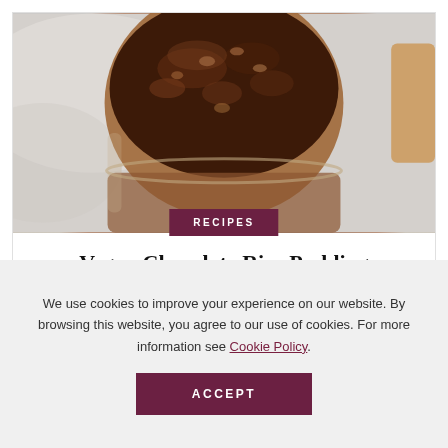[Figure (photo): Close-up photo of a glass jar filled with chocolate rice pudding on a light marble surface]
RECIPES
Vegan Chocolate Rice Pudding
Lisa
We use cookies to improve your experience on our website. By browsing this website, you agree to our use of cookies. For more information see Cookie Policy.
ACCEPT